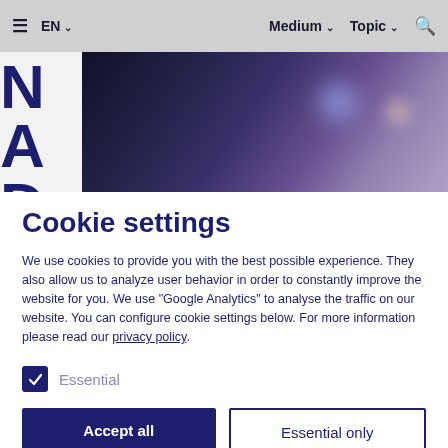≡ EN ∨   Medium ∨  Topic ∨  🔍
[Figure (photo): Dark blurred hero image with partial large letters N, A, D visible on the left side]
Cookie settings
We use cookies to provide you with the best possible experience. They also allow us to analyze user behavior in order to constantly improve the website for you. We use "Google Analytics" to analyse the traffic on our website. You can configure cookie settings below. For more information please read our privacy policy.
✓ Essential
Accept all   Essential only